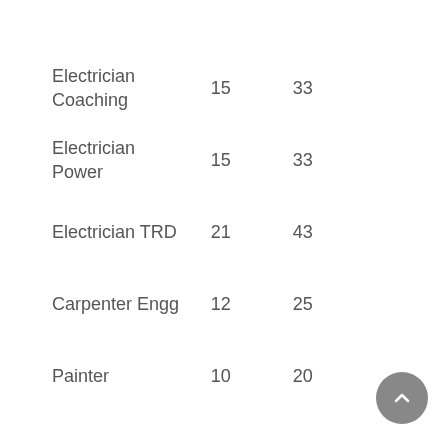| Electrician Coaching | 15 | 33 |
| Electrician Power | 15 | 33 |
| Electrician TRD | 21 | 43 |
| Carpenter Engg | 12 | 25 |
| Painter | 10 | 20 |